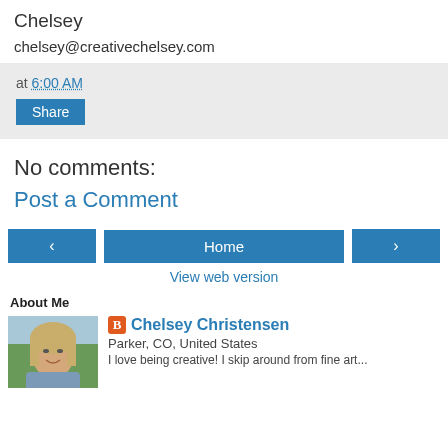Chelsey
chelsey@creativechelsey.com
at 6:00 AM
Share
No comments:
Post a Comment
< Home >
View web version
About Me
[Figure (photo): Profile photo of Chelsey Christensen, a woman with blonde hair outdoors with green trees in the background]
Chelsey Christensen
Parker, CO, United States
I love being creative! I skip around from fine art...